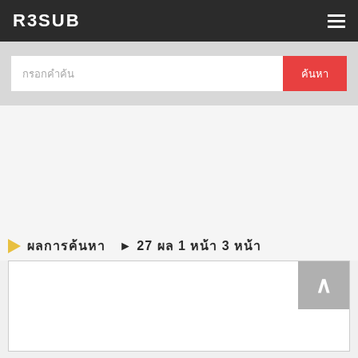R3SUB
กรอกคำค้น
ค้นหา
ผลการค้นหา   ► 27 ผล 1 หน้า 3 หน้า